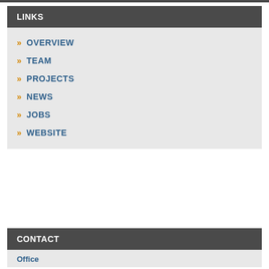LINKS
OVERVIEW
TEAM
PROJECTS
NEWS
JOBS
WEBSITE
CONTACT
Office